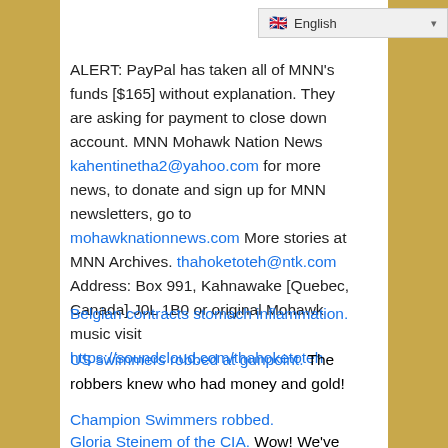English
ALERT: PayPal has taken all of MNN’s funds [$165] without explanation. They are asking for payment to close down account. MNN Mohawk Nation News kahentinetha2@yahoo.com for more news, to donate and sign up for MNN newsletters, go to mohawknationnews.com More stories at MNN Archives. thahoketoteh@ntk.com Address: Box 991, Kahnawake [Quebec, Canada] J0L 1B0 or original Mohawk music visit https://soundcloud.com/thahoketoteh
Belgian contracts stomach inflammation.
US swimmers robbed at gunpoint. The robbers knew who had money and gold!
Champion Swimmers robbed.
Gloria Steinem of the CIA. Wow! We’ve been fooled!